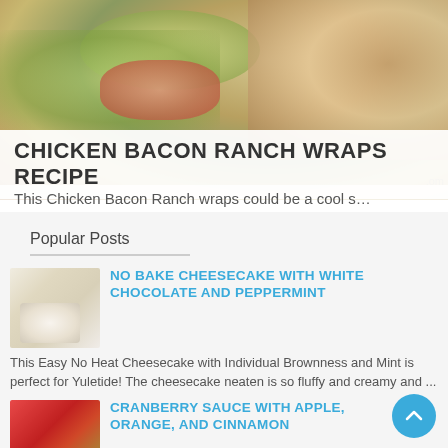[Figure (photo): Hero image of chicken bacon ranch wraps cut and displayed, showing lettuce, bacon and tortilla wrap filling]
CHICKEN BACON RANCH WRAPS RECIPE
This Chicken Bacon Ranch wraps could be a cool s…
Popular Posts
[Figure (photo): Small thumbnail of No Bake Cheesecake with White Chocolate and Peppermint]
NO BAKE CHEESECAKE WITH WHITE CHOCOLATE AND PEPPERMINT
This Easy No Heat Cheesecake with Individual Brownness and Mint is perfect for Yuletide! The cheesecake neaten is so fluffy and creamy and ...
[Figure (photo): Small thumbnail of Cranberry Sauce with Apple, Orange and Cinnamon]
CRANBERRY SAUCE WITH APPLE, ORANGE, AND CINNAMON